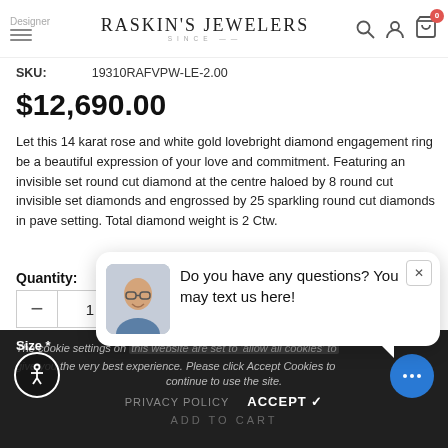Designer | RASKIN'S JEWELERS
SKU: 19310RAFVPW-LE-2.00
$12,690.00
Let this 14 karat rose and white gold lovebright diamond engagement ring be a beautiful expression of your love and commitment. Featuring an invisible set round cut diamond at the centre haloed by 8 round cut invisible set diamonds and engrossed by 25 sparkling round cut diamonds in pave setting. Total diamond weight is 2 Ctw.
Quantity:
Size *
The cookie settings on this website are set to 'allow all cookies' to give you the very best experience. Please click Accept Cookies to continue to use the site.
PRIVACY POLICY   ACCEPT ✓
ADD TO CART
[Figure (screenshot): Chat popup with a man's photo and text: Do you have any questions? You may text us here!]